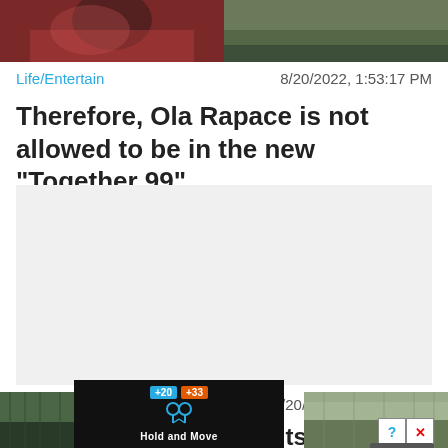[Figure (photo): Top portion showing two photos side by side, left with reddish/dark tones, right with green outdoor tones]
Life/Entertain   8/20/2022, 1:53:17 PM
Therefore, Ola Rapace is not allowed to be in the new "Together 99"
[Figure (other): Gray advertisement placeholder block]
Life/Entertain   8/20/2022, 11:53:35 AM
Beds for dialysis patients are tight Approximately 170 people cannot be
[Figure (screenshot): Bottom overlay showing a mobile game ad 'Hold and Move' with blue and orange labels, control buttons with question mark and X, flanked by outdoor photos]